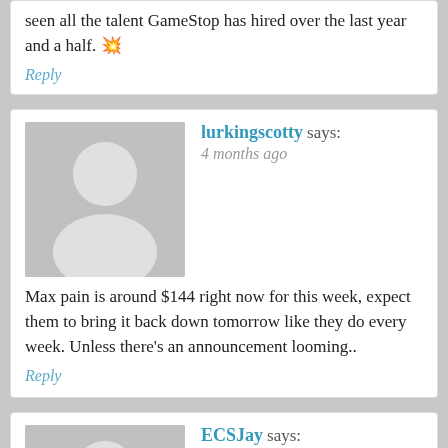Your ability to recruit talent — we have seen all the talent GameStop has hired over the last year and a half. 💥
Reply
lurkingscotty says:
4 months ago
Max pain is around $144 right now for this week, expect them to bring it back down tomorrow like they do every week. Unless there's an announcement looming..
Reply
ECSJay says:
4 months ago
Strange GameStop isn't on that list. Aren't